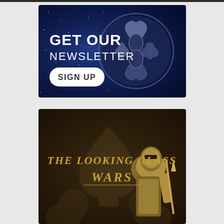[Figure (illustration): Newsletter signup banner with dark blue starry background, card suit symbols (heart, spade, club, diamond) arranged in a circular emblem on the right. White text on left reads 'GET OUR NEWSLETTER' with a white rounded button labeled 'SIGN UP'.]
[Figure (illustration): The Looking Glass Wars promotional image with dark brown/gold background, large stylized card suit emblem, golden ornate title text 'THE LOOKING GLASS WARS', and partial armored figure on the right.]